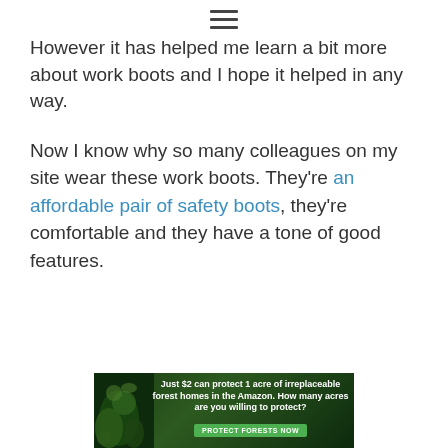≡
However it has helped me learn a bit more about work boots and I hope it helped in any way.
Now I know why so many colleagues on my site wear these work boots. They're an affordable pair of safety boots, they're comfortable and they have a tone of good features.
[Figure (other): Advertisement banner: forest/Amazon conservation ad. Text reads: 'Just $2 can protect 1 acre of irreplaceable forest homes in the Amazon. How many acres are you willing to protect?' with a green 'PROTECT FORESTS NOW' button and a forest background image with wildlife.]